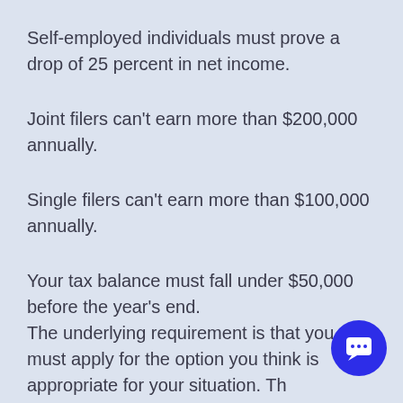Self-employed individuals must prove a drop of 25 percent in net income.
Joint filers can't earn more than $200,000 annually.
Single filers can't earn more than $100,000 annually.
Your tax balance must fall under $50,000 before the year's end.
The underlying requirement is that you must apply for the option you think is appropriate for your situation. Th[e IRS] won't automatically apply the Fresh Start program to [your] tax debt just because you qualify. The IRS charges interest